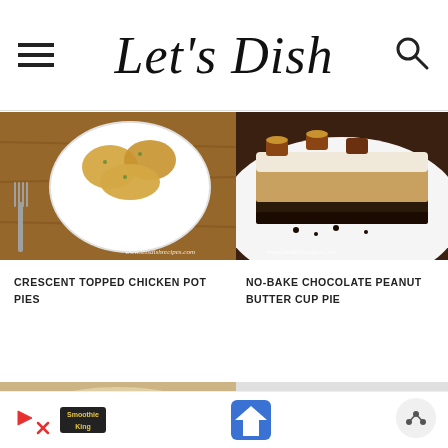Let's Dish
[Figure (photo): Crescent topped chicken pot pies in white ramekin with fork on wooden surface. Watermark: www.letsdishrecipes.com]
CRESCENT TOPPED CHICKEN POT PIES
[Figure (photo): No-bake chocolate peanut butter cup pie with Reese's cups on white plate. Watermark: www.letsdishrecipes.com]
NO-BAKE CHOCOLATE PEANUT BUTTER CUP PIE
[Figure (photo): Partially visible food photo bottom left]
[Figure (photo): Partially visible food photo bottom right]